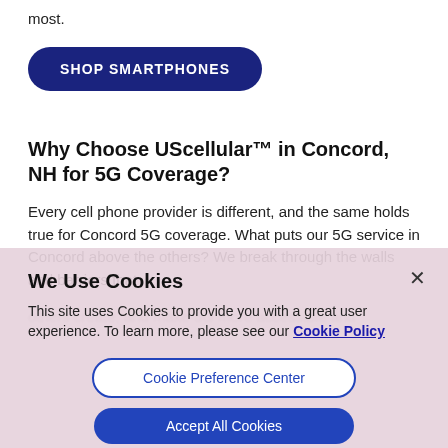most.
SHOP SMARTPHONES
Why Choose UScellular™ in Concord, NH for 5G Coverage?
Every cell phone provider is different, and the same holds true for Concord 5G coverage. What puts our 5G service in Concord above the others? We break through the walls and barriers that
We Use Cookies
This site uses Cookies to provide you with a great user experience. To learn more, please see our Cookie Policy
Cookie Preference Center
Accept All Cookies